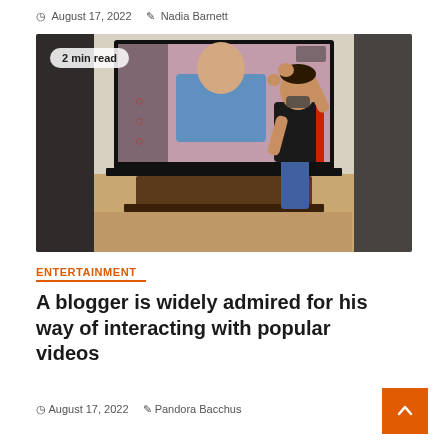August 17, 2022  Nadia Barnett
[Figure (photo): A man gesturing at a large TV screen showing a football press conference. The screen displays a man in a blue sweater in front of Arsenal branding. The man interacting with the screen wears a black t-shirt and jeans. A '2 min read' badge overlays the top-left corner.]
ENTERTAINMENT
A blogger is widely admired for his way of interacting with popular videos
August 17, 2022  Pandora Bacchus